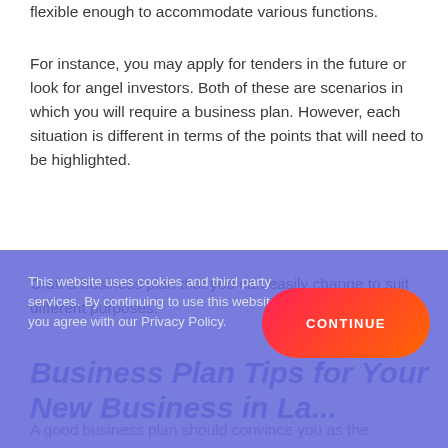flexible enough to accommodate various functions.
For instance, you may apply for tenders in the future or look for angel investors. Both of these are scenarios in which you will require a business plan. However, each situation is different in terms of the points that will need to be highlighted.
Craft a business plan that you can easily change to suit different purposes.
Business Plan Tips for Your New Business in La...
This website uses cookies and third party services. By continuing to use this website you agree with our Privacy Policy.
A good business plan should convince you as the